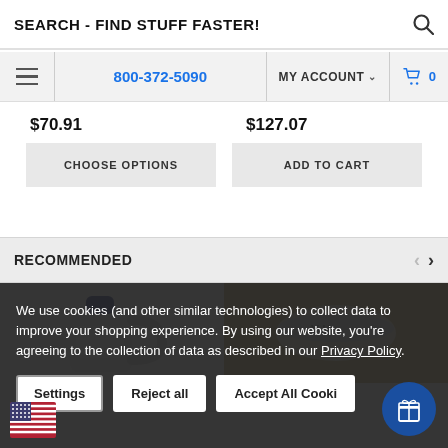SEARCH - FIND STUFF FASTER!
800-372-5090
MY ACCOUNT  0
$70.91
$127.07
CHOOSE OPTIONS
ADD TO CART
RECOMMENDED
[Figure (photo): White plastic jug with dark blue cap and handle]
[Figure (photo): Yellow and silver/blue lid or ring product on tan background]
We use cookies (and other similar technologies) to collect data to improve your shopping experience. By using our website, you’re agreeing to the collection of data as described in our Privacy Policy.
Settings
Reject all
Accept All Cooki